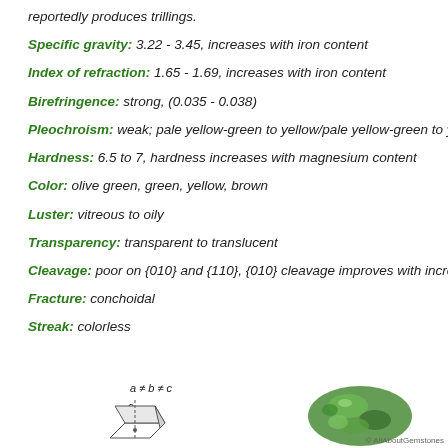reportedly produces trillings.
Specific gravity: 3.22 - 3.45, increases with iron content
Index of refraction: 1.65 - 1.69, increases with iron content
Birefringence: strong, (0.035 - 0.038)
Pleochroism: weak; pale yellow-green to yellow/pale yellow-green to yell…
Hardness: 6.5 to 7, hardness increases with magnesium content
Color: olive green, green, yellow, brown
Luster: vitreous to oily
Transparency: transparent to translucent
Cleavage: poor on {010} and {110}, {010} cleavage improves with increas…
Fracture: conchoidal
Streak: colorless
[Figure (schematic): Crystal system diagram showing a ≠ b ≠ c axes with orthorhombic crystal shape]
[Figure (photo): Green gemstone/mineral photo]
© AllAboutGemstones